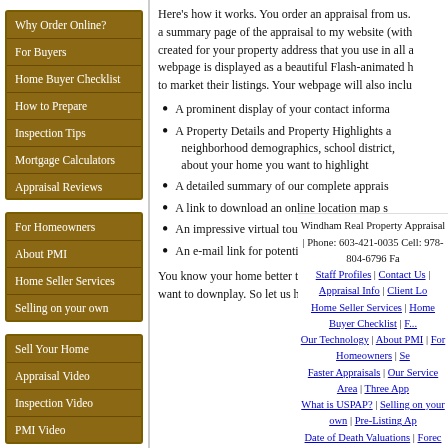Why Order Online?
For Buyers
Home Buyer Checklist
How to Prepare
Inspection Tips
Mortgage Calculators
Appraisal Reviews
For Homeowners
About PMI
Home Seller Services
Selling on your own
Sell Your Home
Appraisal Video
Inspection Video
PMI Video
Here's how it works. You order an appraisal from us. We upload a summary page of the appraisal to my website (with a unique URL created for your property address that you use in all advertising). The webpage is displayed as a beautiful Flash-animated home, like agents use to market their listings. Your webpage will also include:
A prominent display of your contact informa...
A Property Details and Property Highlights and neighborhood demographics, school district, ... about your home you want to highlight
A detailed summary of our complete apprais...
A link to download an online location map so...
An impressive virtual tour of all the photos o...
An e-mail link for potential buyers to send ye...
You know your home better than anyone. And you k... want to downplay. So let us help you get the exposur...
Windham Real Property Appraisal | Phone: 603-421-0035 Cell: 978-804-6796 Fa... | Staff Profiles | Contact Us | Appraisal Info | Client Lo... | Home Seller Services | Home Buyer Checklist | F... | Our Technology | About PMI | For Homeowners | Se... | Faster Appraisals | Our Service Area | Three App... | What is USPAP? | Selling on your own | Pre-Listing Ap... | Date of Death Valuations | Forec...